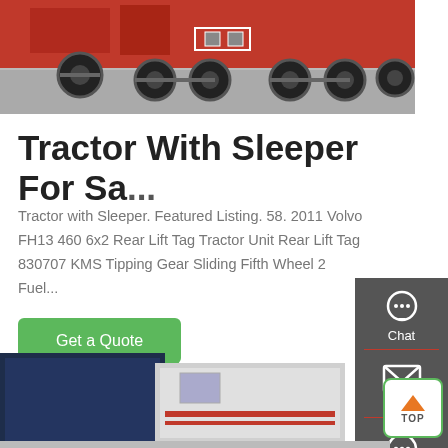[Figure (photo): Red heavy-duty trucks parked in a lot, showing undercarriage and wheels]
Tractor With Sleeper For Sa...
Tractor with Sleeper. Featured Listing. 58. 2011 Volvo FH13 460 6x2 Rear Lift Tag Tractor Unit Rear Lift Tag 830707 KMS Tipping Gear Sliding Fifth Wheel 2 Fuel...
[Figure (other): Sidebar panel with Chat, Email, and Contact icons on dark grey background]
[Figure (other): Get a Quote green button]
[Figure (photo): Bottom portion of page showing truck sleeper cab and blue container]
[Figure (other): TOP scroll-to-top button with green border and upward arrow]